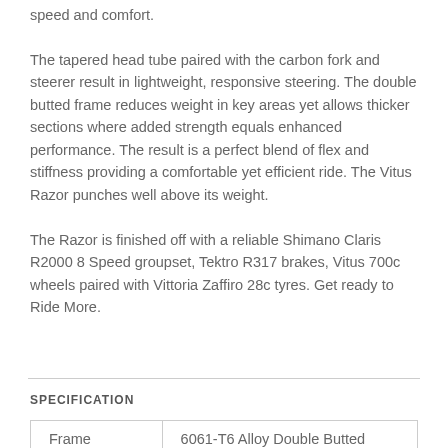speed and comfort. The tapered head tube paired with the carbon fork and steerer result in lightweight, responsive steering. The double butted frame reduces weight in key areas yet allows thicker sections where added strength equals enhanced performance. The result is a perfect blend of flex and stiffness providing a comfortable yet efficient ride. The Vitus Razor punches well above its weight.
The Razor is finished off with a reliable Shimano Claris R2000 8 Speed groupset, Tektro R317 brakes, Vitus 700c wheels paired with Vittoria Zaffiro 28c tyres. Get ready to Ride More.
SPECIFICATION
|  |  |
| --- | --- |
| Frame | 6061-T6 Alloy Double Butted |
| Forks | UD Carbon with Alloy Steerer – Tapered |